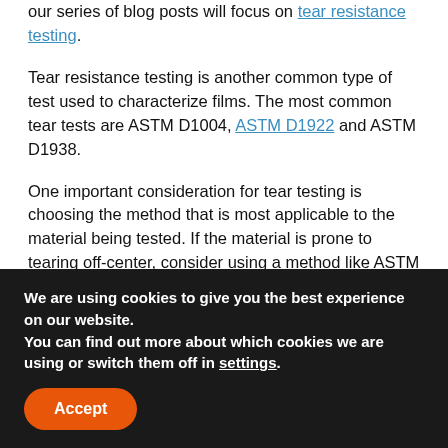our series of blog posts will focus on tear resistance testing.
Tear resistance testing is another common type of test used to characterize films. The most common tear tests are ASTM D1004, ASTM D1922 and ASTM D1938.
One important consideration for tear testing is choosing the method that is most applicable to the material being tested. If the material is prone to tearing off-center, consider using a method like ASTM D1004 where the sample geometry encourages tearing in a specific area and direction. Another factor in choosing the most relevant test method are the properties that need to be determined such as initiation force, propagation force, average tear force or total energy. ASTM D1922 will only yield the average tear force, ASTM
We are using cookies to give you the best experience on our website.
You can find out more about which cookies we are using or switch them off in settings.